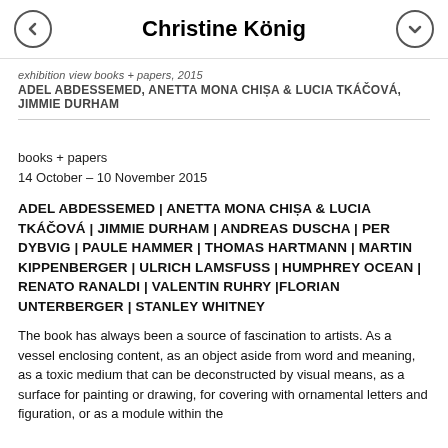Christine König
exhibition view books + papers, 2015
ADEL ABDESSEMED, ANETTA MONA CHIȘA & LUCIA TKÁČOVÁ, JIMMIE DURHAM
books + papers
14 October – 10 November 2015
ADEL ABDESSEMED | ANETTA MONA CHIȘA & LUCIA TKÁČOVÁ | JIMMIE DURHAM | ANDREAS DUSCHA | PER DYBVIG | PAULE HAMMER | THOMAS HARTMANN | MARTIN KIPPENBERGER | ULRICH LAMSFUSS | HUMPHREY OCEAN | RENATO RANALDI | VALENTIN RUHRY |FLORIAN UNTERBERGER | STANLEY WHITNEY
The book has always been a source of fascination to artists. As a vessel enclosing content, as an object aside from word and meaning, as a toxic medium that can be deconstructed by visual means, as a surface for painting or drawing, for covering with ornamental letters and figuration, or as a module within the